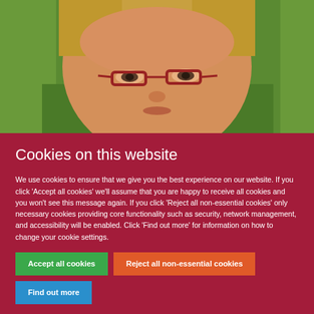[Figure (photo): Close-up photo of a woman with red-framed glasses and blonde hair against a green leafy background]
Cookies on this website
We use cookies to ensure that we give you the best experience on our website. If you click 'Accept all cookies' we'll assume that you are happy to receive all cookies and you won't see this message again. If you click 'Reject all non-essential cookies' only necessary cookies providing core functionality such as security, network management, and accessibility will be enabled. Click 'Find out more' for information on how to change your cookie settings.
Accept all cookies
Reject all non-essential cookies
Find out more